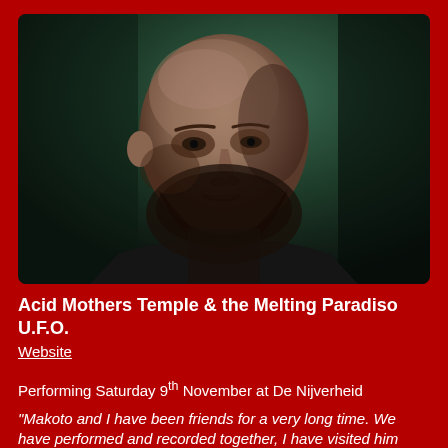[Figure (photo): Black and white style portrait of a bald man with a beard wearing a dark shirt, looking to the side against a dark green background]
Acid Mothers Temple & the Melting Paradiso U.F.O.
Website
Performing Saturday 9th November at De Nijverheid
“Makoto and I have been friends for a very long time. We have performed and recorded together, I have visited him